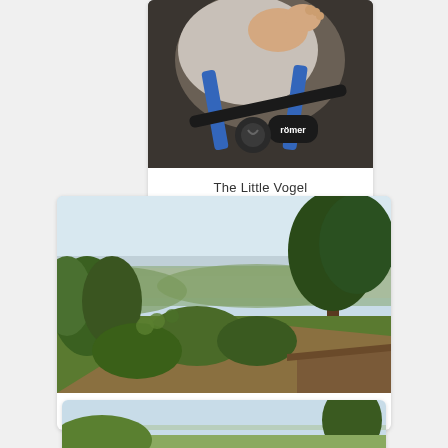[Figure (photo): Photo of a baby/infant in a black car seat with blue harness straps, a Römer/Recaro brand car seat visible]
The Little Vogel
[Figure (photo): Landscape photo showing green vineyard/trees in the foreground with a wide valley and the Vosges Mountains visible in the distance under a hazy sky]
Vosges Mountains in the distance
[Figure (photo): Partial photo at bottom of page showing a landscape scene, cropped]